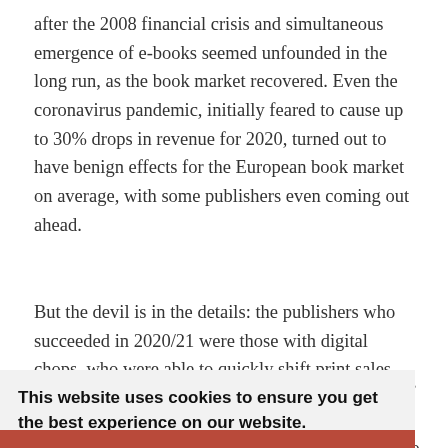after the 2008 financial crisis and simultaneous emergence of e-books seemed unfounded in the long run, as the book market recovered. Even the coronavirus pandemic, initially feared to cause up to 30% drops in revenue for 2020, turned out to have benign effects for the European book market on average, with some publishers even coming out ahead.
But the devil is in the details: the publishers who succeeded in 2020/21 were those with digital chops, who were able to quickly shift print sales online and/or anticipated
[partial text obscured by cookie banner] ...lemic, ...s' ...n by ...t so
This website uses cookies to ensure you get the best experience on our website. Learn more
Got it!
nue to get in on the audiobook game.